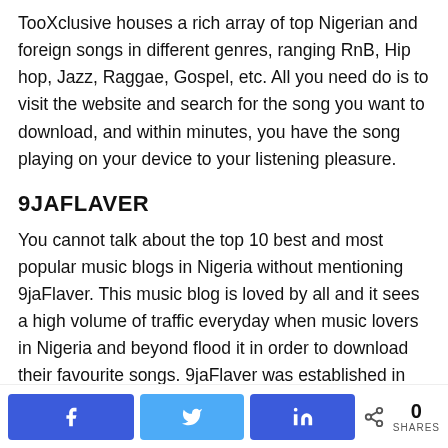TooXclusive houses a rich array of top Nigerian and foreign songs in different genres, ranging RnB, Hip hop, Jazz, Raggae, Gospel, etc. All you need do is to visit the website and search for the song you want to download, and within minutes, you have the song playing on your device to your listening pleasure.
9JAFLAVER
You cannot talk about the top 10 best and most popular music blogs in Nigeria without mentioning 9jaFlaver. This music blog is loved by all and it sees a high volume of traffic everyday when music lovers in Nigeria and beyond flood it in order to download their favourite songs. 9jaFlaver was established in 2014 by “Mr. Ejump” and it is one of the most up to date music download websites in the country currently.
Share buttons: Facebook, Twitter, LinkedIn | 0 SHARES